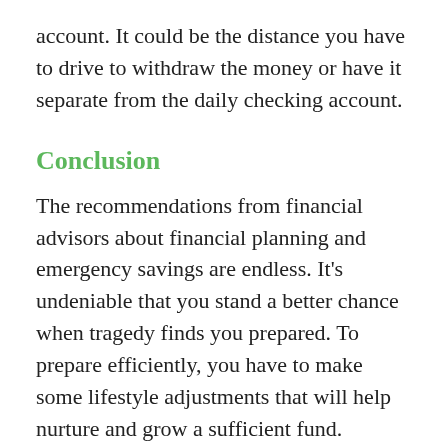account. It could be the distance you have to drive to withdraw the money or have it separate from the daily checking account.
Conclusion
The recommendations from financial advisors about financial planning and emergency savings are endless. It’s undeniable that you stand a better chance when tragedy finds you prepared. To prepare efficiently, you have to make some lifestyle adjustments that will help nurture and grow a sufficient fund.